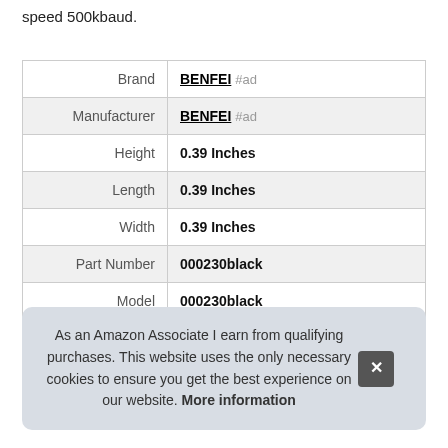speed 500kbaud.
| Brand | BENFEI #ad |
| Manufacturer | BENFEI #ad |
| Height | 0.39 Inches |
| Length | 0.39 Inches |
| Width | 0.39 Inches |
| Part Number | 000230black |
| Model | 000230black |
As an Amazon Associate I earn from qualifying purchases. This website uses the only necessary cookies to ensure you get the best experience on our website. More information